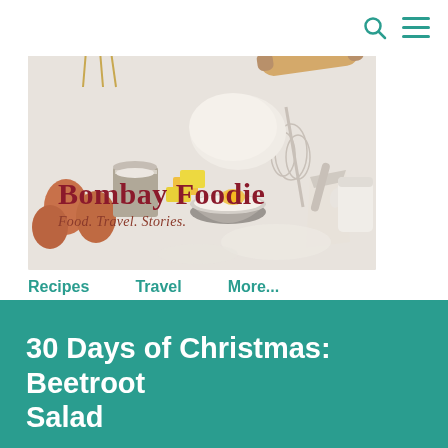[Figure (logo): Bombay Foodie blog logo banner showing baking ingredients (eggs, butter, flour, dough, whisk, rolling pin, wheat stalks) on a white marble surface with text 'Bombay Foodie' in dark red serif font and 'Food. Travel. Stories.' in italic below]
[Figure (illustration): Search icon (magnifying glass) and hamburger menu icon in teal color in the top right corner]
Recipes   Travel   More...
30 Days of Christmas: Beetroot Salad